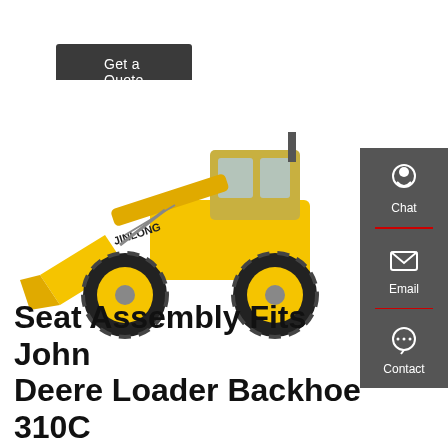Get a Quote
[Figure (photo): Yellow Jinlong wheel loader / front-end loader with large bucket on white background]
[Figure (infographic): Dark gray sidebar with Chat (headset icon), Email (envelope icon), and Contact (speech bubble icon) options, separated by red dividers]
Seat Assembly Fits John Deere Loader Backhoe 310C